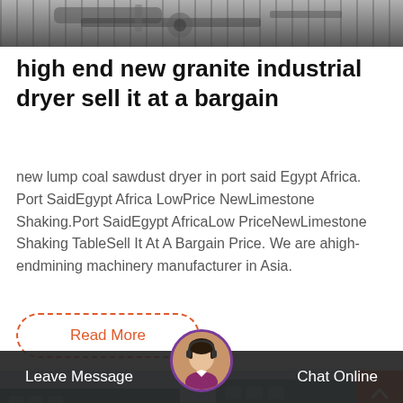[Figure (photo): Partial view of industrial machinery, gray tones]
high end new granite industrial dryer sell it at a bargain
new lump coal sawdust dryer in port said Egypt Africa. Port SaidEgypt Africa LowPrice NewLimestone Shaking.Port SaidEgypt AfricaLow PriceNewLimestone Shaking TableSell It At A Bargain Price. We are ahigh-endmining machinery manufacturer in Asia.
Read More
[Figure (photo): Bottom section showing a building exterior with windows, partial view]
Leave Message
Chat Online